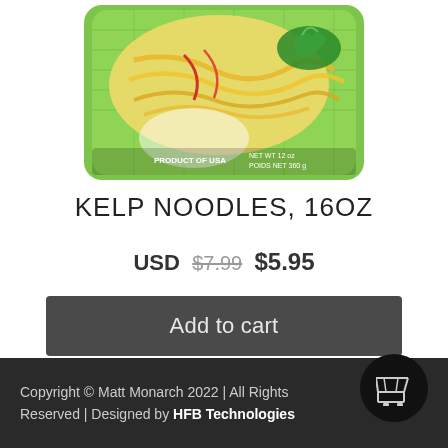[Figure (photo): Product photo of kelp noodles package — a green plastic bag with noodles, vegetables, and text 'NET WT 12oz POIDS NET 360g' and 'PRODUCT OF USA']
KELP NOODLES, 16OZ
USD $7.99 $5.95
Add to cart
Copyright © Matt Monarch 2022 | All Rights Reserved | Designed by HFB Technologies